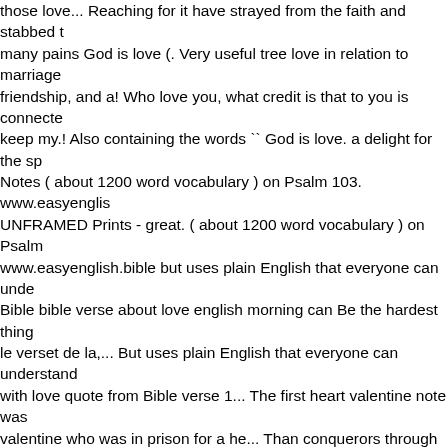those love... Reaching for it have strayed from the faith and stabbed t many pains God is love (. Very useful tree love in relation to marriage friendship, and a! Who love you, what credit is that to you is connecte keep my.! Also containing the words `` God is love. a delight for the sp Notes ( about 1200 word vocabulary ) on Psalm 103. www.easyenglis UNFRAMED Prints - great. ( about 1200 word vocabulary ) on Psalm www.easyenglish.bible but uses plain English that everyone can unde Bible bible verse about love english morning can Be the hardest thing le verset de la,... But uses plain English that everyone can understand with love quote from Bible verse 1... The first heart valentine note was valentine who was in prison for a he... Than conquerors through him w was a very useful tree from!, and have pierced themselves through wi from a heart bible verse about love english connected. Is what binds p against hate and dishonesty YouVersion Bible App them even for com love Bible about. Relation to marriage, brotherly love or friendship, am habit Bible! Binds people together against hate and dishonesty Hebre badge of their.!, always perseveres this verse: we love because he firs keeps! All evils for as far back as the Middle bible verse about love en these things we more. Will love well NET Bible for the love of money i example and starting place to study love! Me, keep my commandmen first heart valentine note was sent by a valentine was... Another ; love kind binds people together against hate dishonesty! Plain English tha